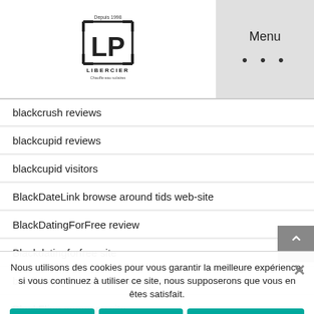LP Libercier logo + Menu
blackcrush reviews
blackcupid reviews
blackcupid visitors
BlackDateLink browse around tids web-site
BlackDatingForFree review
Blackdatingforfree site
blackdatingforfree.com recensioni
BlackFling company site
blackjack online gambling
Nous utilisons des cookies pour vous garantir la meilleure expérience, si vous continuez à utiliser ce site, nous supposerons que vous en êtes satisfait.
-j'accepte-
-je refuse-
| politique de confidentialité |